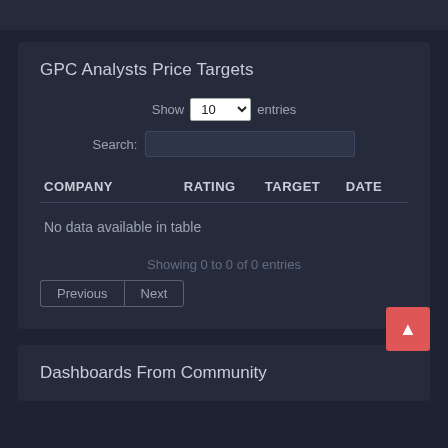GPC Analysts Price Targets
| COMPANY | RATING | TARGET | DATE |
| --- | --- | --- | --- |
Showing 0 to 0 of 0 entries
Dashboards From Community